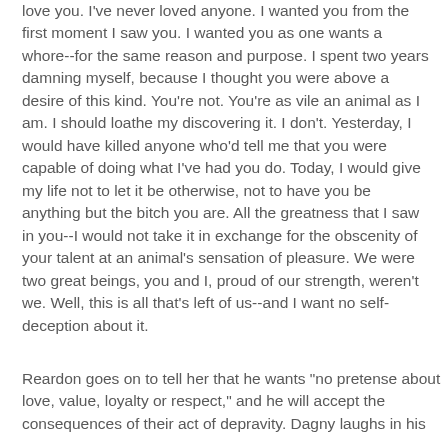love you. I've never loved anyone. I wanted you from the first moment I saw you. I wanted you as one wants a whore--for the same reason and purpose. I spent two years damning myself, because I thought you were above a desire of this kind. You're not. You're as vile an animal as I am. I should loathe my discovering it. I don't. Yesterday, I would have killed anyone who'd tell me that you were capable of doing what I've had you do. Today, I would give my life not to let it be otherwise, not to have you be anything but the bitch you are. All the greatness that I saw in you--I would not take it in exchange for the obscenity of your talent at an animal's sensation of pleasure. We were two great beings, you and I, proud of our strength, weren't we. Well, this is all that's left of us--and I want no self-deception about it.
Reardon goes on to tell her that he wants "no pretense about love, value, loyalty or respect," and he will accept the consequences of their act of depravity. Dagny laughs in his